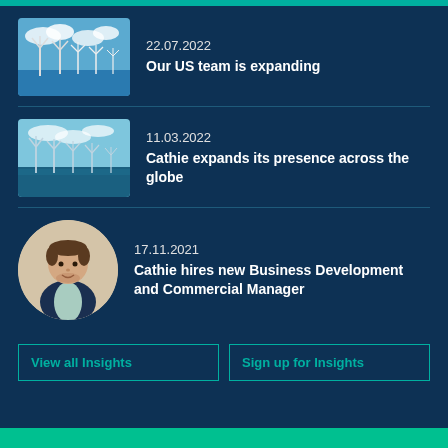22.07.2022 | Our US team is expanding
11.03.2022 | Cathie expands its presence across the globe
17.11.2021 | Cathie hires new Business Development and Commercial Manager
View all Insights
Sign up for Insights